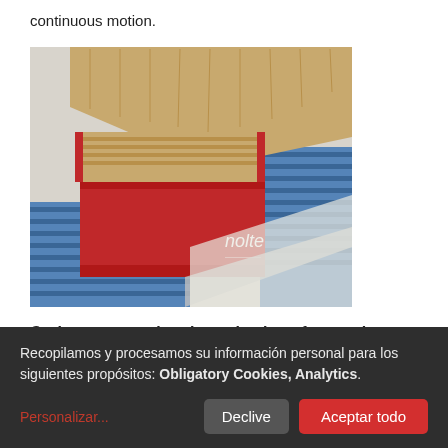continuous motion.
[Figure (photo): Cork parquet pieces and packaging on a blue conveyor belt system. Red-edged wooden planks and boxes labeled 'nolte' are visible on the belt.]
Cork parquet – chaotic packaging of several formats and dimensions in half shell cardbox-trays.
Recopilamos y procesamos su información personal para los siguientes propósitos: Obligatory Cookies, Analytics.
Personalizar...
Declive
Aceptar todo